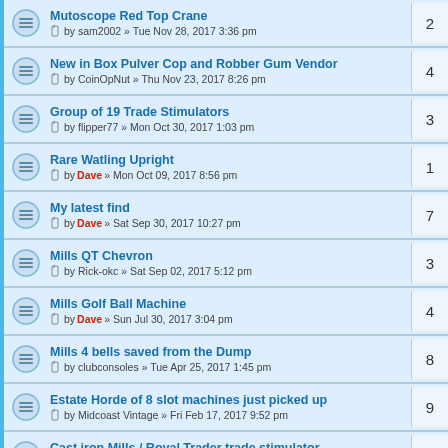Mutoscope Red Top Crane by sam2002 » Tue Nov 28, 2017 3:36 pm | 2
New in Box Pulver Cop and Robber Gum Vendor by CoinOpNut » Thu Nov 23, 2017 8:26 pm | 4
Group of 19 Trade Stimulators by flipper77 » Mon Oct 30, 2017 1:03 pm | 3
Rare Watling Upright by Dave » Mon Oct 09, 2017 8:56 pm | 1
My latest find by Dave » Sat Sep 30, 2017 10:27 pm | 7
Mills QT Chevron by Rick-okc » Sat Sep 02, 2017 5:12 pm | 3
Mills Golf Ball Machine by Dave » Sun Jul 30, 2017 3:04 pm | 4
Mills 4 bells saved from the Dump by clubconsoles » Tue Apr 25, 2017 1:45 pm | 8
Estate Horde of 8 slot machines just picked up by Midcoast Vintage » Fri Feb 17, 2017 9:52 pm | 9
Cast iron Mills / Royal Trader trade stimulator by Midcoast Vintage » Sun Apr 09, 2017 6:03 pm | 4
Well I'll be . . . by edgeCity » Fri Mar 17, 2017 5:04 am | 5